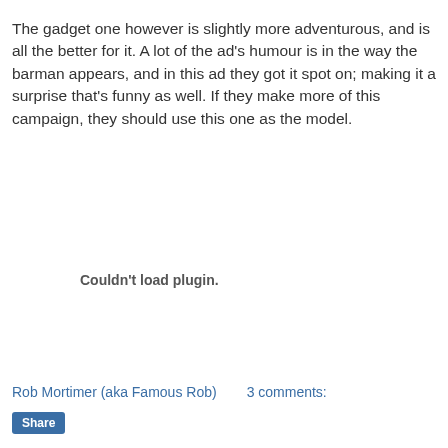The gadget one however is slightly more adventurous, and is all the better for it. A lot of the ad's humour is in the way the barman appears, and in this ad they got it spot on; making it a surprise that's funny as well. If they make more of this campaign, they should use this one as the model.
[Figure (other): Couldn't load plugin. — embedded media placeholder]
Rob Mortimer (aka Famous Rob)    3 comments:
Share